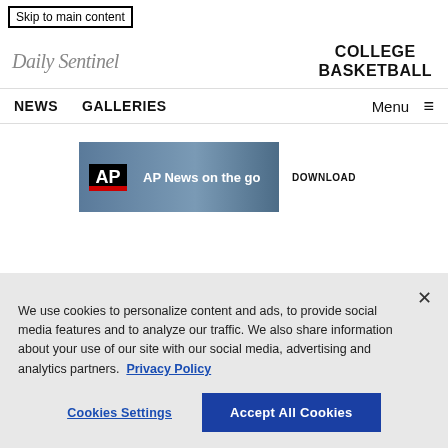Skip to main content
Daily Sentinel   COLLEGE BASKETBALL
NEWS   GALLERIES   Menu ≡
[Figure (screenshot): AP News on the go advertisement banner with AP logo, silhouettes of reporters with cameras, and a DOWNLOAD button]
We use cookies to personalize content and ads, to provide social media features and to analyze our traffic. We also share information about your use of our site with our social media, advertising and analytics partners. Privacy Policy
Cookies Settings   Accept All Cookies